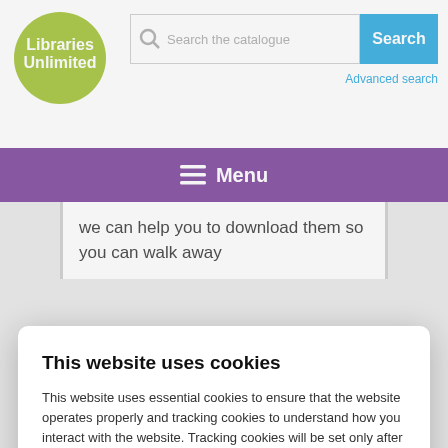[Figure (logo): Libraries Unlimited logo — yellow-green circle with white text 'Libraries Unlimited']
Search the catalogue
Search
Advanced search
≡ Menu
we can help you to download them so you can walk away
This website uses cookies
This website uses essential cookies to ensure that the website operates properly and tracking cookies to understand how you interact with the website. Tracking cookies will be set only after consent. Cookie settings
Accept all
Reject all